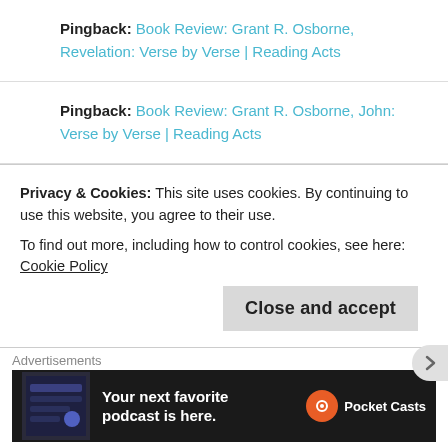Pingback: Book Review: Grant R. Osborne, Revelation: Verse by Verse | Reading Acts
Pingback: Book Review: Grant R. Osborne, John: Verse by Verse | Reading Acts
Pingback: Book Review: Grant Osborne, Acts: Verse by Verse | Reading Acts
Leave a Reply
Privacy & Cookies: This site uses cookies. By continuing to use this website, you agree to their use.
To find out more, including how to control cookies, see here: Cookie Policy
Advertisements
[Figure (infographic): Pocket Casts advertisement banner: dark background with app screenshot on left, text 'Your next favorite podcast is here.' and Pocket Casts logo on right]